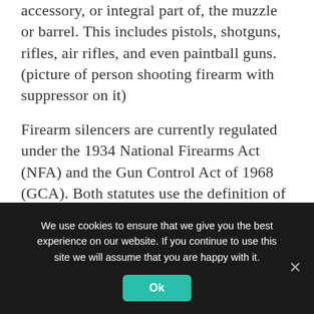accessory, or integral part of, the muzzle or barrel. This includes pistols, shotguns, rifles, air rifles, and even paintball guns. (picture of person shooting firearm with suppressor on it)
Firearm silencers are currently regulated under the 1934 National Firearms Act (NFA) and the Gun Control Act of 1968 (GCA). Both statutes use the definition of a silencer/muffler included in the GCA. The Department of Justice's Bureau of Alcohol, Tobacco, Firearms, and Explosives (ATF) is the lead federal agency
We use cookies to ensure that we give you the best experience on our website. If you continue to use this site we will assume that you are happy with it.